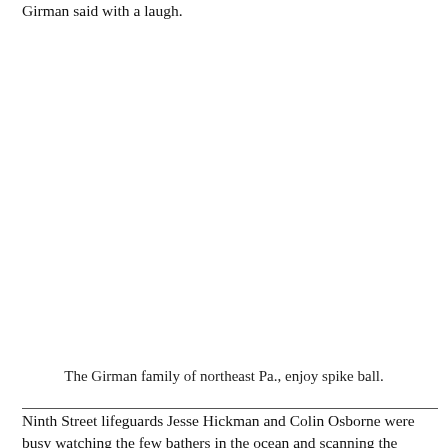Girman said with a laugh.
The Girman family of northeast Pa., enjoy spike ball.
Ninth Street lifeguards Jesse Hickman and Colin Osborne were busy watching the few bathers in the ocean and scanning the beach.